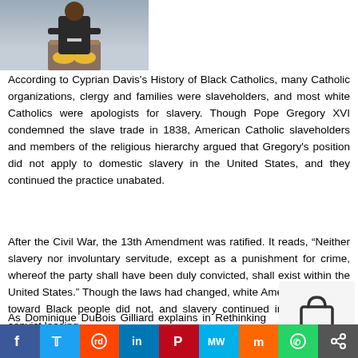[Figure (photo): Person standing at a podium/lectern with flowers, viewed from above]
According to Cyprian Davis's History of Black Catholics, many Catholic organizations, clergy and families were slaveholders, and most white Catholics were apologists for slavery. Though Pope Gregory XVI condemned the slave trade in 1838, American Catholic slaveholders and members of the religious hierarchy argued that Gregory's position did not apply to domestic slavery in the United States, and they continued the practice unabated.
After the Civil War, the 13th Amendment was ratified. It reads, “Neither slavery nor involuntary servitude, except as a punishment for crime, whereof the party shall have been duly convicted, shall exist within the United States.” Though the laws had changed, white American attitudes toward Black people did not, and slavery continued in a new form: convict leasing.
As Dominique DuBois Gilliard explains in Rethinking In…, former slaveholders seeking ways to establish control…
f  🐦  reddit  in  P  MW  M  WhatsApp  share